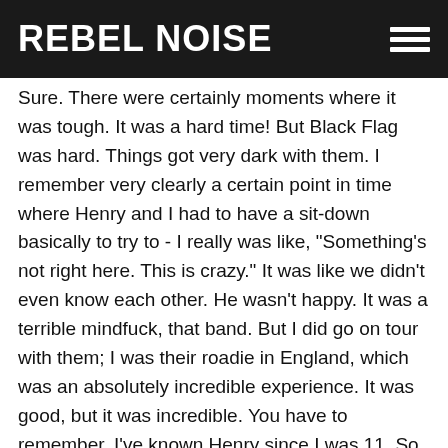REBEL NOISE
Sure. There were certainly moments where it was tough. It was a hard time! But Black Flag was hard. Things got very dark with them. I remember very clearly a certain point in time where Henry and I had to have a sit-down basically to try to - I really was like, "Something's not right here. This is crazy." It was like we didn't even know each other. He wasn't happy. It was a terrible mindfuck, that band. But I did go on tour with them; I was their roadie in England, which was an absolutely incredible experience. It was good, but it was incredible. You have to remember, I've known Henry since I was 11. So there were even periods of time prior to Black Flag, where - you know, we're friends! And you kinda have moments of like "Alright, well fuck you then!" You know? And at that point in the early '80s, of course Minor Threat